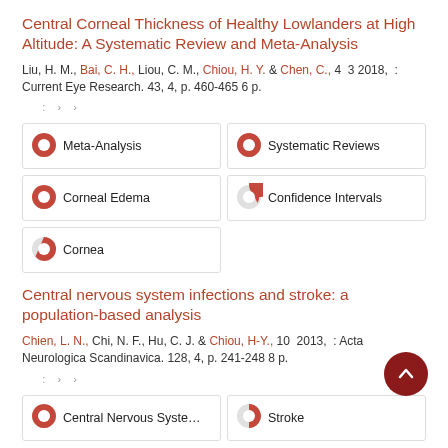Central Corneal Thickness of Healthy Lowlanders at High Altitude: A Systematic Review and Meta-Analysis
Liu, H. M., Bai, C. H., Liou, C. M., Chiou, H. Y. & Chen, C., 4 3 2018, : Current Eye Research. 43, 4, p. 460-465 6 p.
[Figure (infographic): Five keyword badges with pie chart icons showing percentage fill: Meta-Analysis (100%), Systematic Reviews (100%), Corneal Edema (100%), Confidence Intervals (75%), Cornea (65%)]
Central nervous system infections and stroke: a population-based analysis
Chien, L. N., Chi, N. F., Hu, C. J. & Chiou, H-Y., 10 2013, : Acta Neurologica Scandinavica. 128, 4, p. 241-248 8 p.
[Figure (infographic): Keyword badges with pie chart icons: Central Nervous System Infectio... (100%), Stroke (55%)]